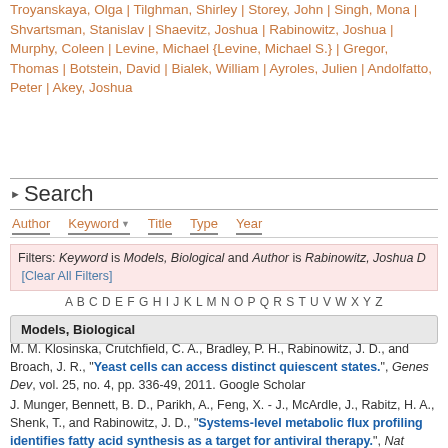Troyanskaya, Olga | Tilghman, Shirley | Storey, John | Singh, Mona | Shvartsman, Stanislav | Shaevitz, Joshua | Rabinowitz, Joshua | Murphy, Coleen | Levine, Michael {Levine, Michael S.} | Gregor, Thomas | Botstein, David | Bialek, William | Ayroles, Julien | Andolfatto, Peter | Akey, Joshua
Search
Author | Keyword | Title | Type | Year
Filters: Keyword is Models, Biological and Author is Rabinowitz, Joshua D [Clear All Filters]
A B C D E F G H I J K L M N O P Q R S T U V W X Y Z
Models, Biological
M. M. Klosinska, Crutchfield, C. A., Bradley, P. H., Rabinowitz, J. D., and Broach, J. R., "Yeast cells can access distinct quiescent states.", Genes Dev, vol. 25, no. 4, pp. 336-49, 2011. Google Scholar
J. Munger, Bennett, B. D., Parikh, A., Feng, X. - J., McArdle, J., Rabitz, H. A., Shenk, T., and Rabinowitz, J. D., "Systems-level metabolic flux profiling identifies fatty acid synthesis as a target for antiviral therapy.", Nat Biotechnol, vol. 26, no. 10, pp. 1179-86, 2008. Google Scholar